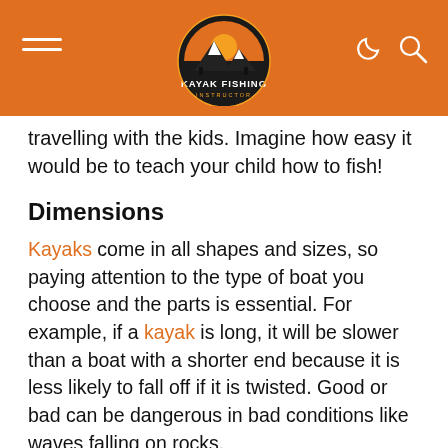Kayak Fishing Instructor
travelling with the kids. Imagine how easy it would be to teach your child how to fish!
Dimensions
Kayaks come in all shapes and sizes, so paying attention to the type of boat you choose and the parts is essential. For example, if a kayak is long, it will be slower than a boat with a shorter end because it is less likely to fall off if it is twisted. Good or bad can be dangerous in bad conditions like waves falling on rocks.
Stability
2-person fishing kayaks are usually broader and heavier than other boats, making them more stable. They are also long-lasting, allowing you to get up faster while